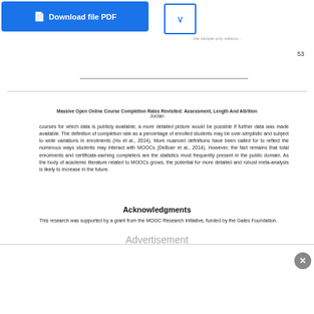[Figure (other): Download file PDF button in blue]
53
Massive Open Online Course Completion Rates Revisited: Assessment, Length And Attrition
Jordan
courses for which data is publicly available; a more detailed picture would be possible if further data was made available. The definition of completion rate as a percentage of enrolled students may be over-simplistic and subject to wide variations in enrolments (Ho et al., 2014). More nuanced definitions have been called for to reflect the numerous ways students may interact with MOOCs (DeBoer et al., 2014). However, the fact remains that total enrolments and certificate-earning completers are the statistics most frequently present in the public domain. As the body of academic literature related to MOOCs grows, the potential for more detailed and robust meta-analysis is likely to increase in the future.
Acknowledgments
This research was supported by a grant from the MOOC Research Initiative, funded by the Gates Foundation.
Advertisement
[Figure (photo): MilliporeSigma laboratory samplers advertisement photo]
A Sampler for Every Situation